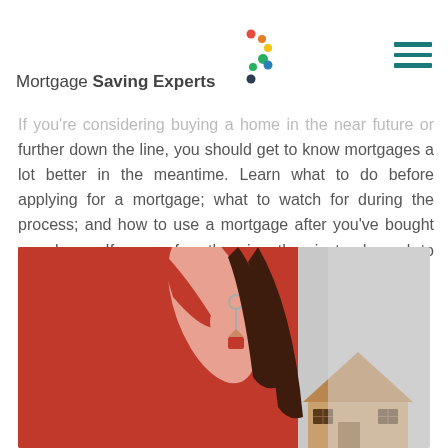Mortgage Saving Experts
If you're considering buying a home in the near future or further down the line, you should get to know mortgages a lot better in the meantime. Learn what to do before applying for a mortgage; what to watch for during the process; and how to use a mortgage after you've bought your home. If you prefer otherwise, then instead speak to an adviser who will guide you through it.
[Figure (photo): Woman in red top holding a house keyring and a wooden toy house model]